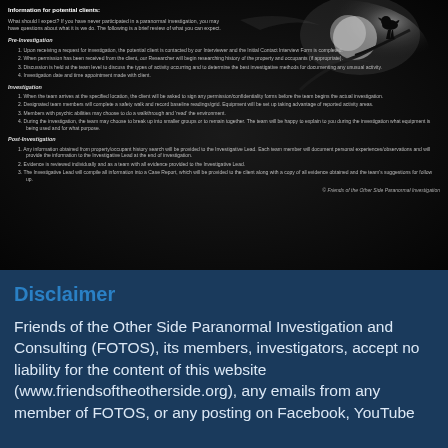[Figure (illustration): Dark atmospheric background panel with a bird silhouette perched on a branch against glowing moonlit clouds, containing text about paranormal investigation information for potential clients.]
Information for potential clients:
What should I expect? If you have never participated in a paranormal investigation, you may have questions about what it is we do. The following is a brief review of what you can expect.
Pre-Investigation
1. Upon receiving a request for investigation, the potential client is contacted by our Interviewer and the Initial Contact Interview Form is completed.
2. When permission has been received from the client, our Researcher will begin researching history of the property and occupants (if appropriate).
3. Discussion is held at the team level to discuss the types of activity occurring and to determine the best investigative methods for documenting any unusual activity.
4. Investigation date and time appointment made with client.
Investigation
1. When the team arrives at the specified location, the client will be asked to sign any permission/confidentiality forms before the team begins the actual investigation.
2. Designated team members will complete a safety walk and record baseline readings/grid. Equipment will be set up taking advantage of reported activity areas.
3. Members with psychic abilities may choose to do a walkthrough and 'read' the environment.
4. During the investigation, the team may choose to break up into smaller groups or to remain together. The team will be happy to explain to you during the investigation what equipment is being used and for what purpose.
Post-Investigation
1. Any information obtained from property/occupant history search will be provided to the Investigative Lead. Each team member will document personal experiences/observations and will provide the information to the Investigative Lead at the end of investigation.
2. Evidence is reviewed individually and as a team with all evidence provided to the Investigative Lead.
3. The Investigative Lead will compile all information into a Case Report, which will be provided to the client along with a copy of all evidence obtained and the team's suggestions for follow up.
© Friends of the Other Side Paranormal Investigation
Disclaimer
Friends of the Other Side Paranormal Investigation and Consulting (FOTOS), its members, investigators, accept no liability for the content of this website (www.friendsoftheotherside.org), any emails from any member of FOTOS, or any posting on Facebook, YouTube